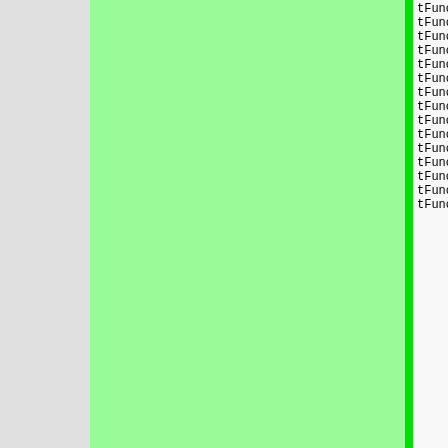| commit | date | author | bar | code |
| --- | --- | --- | --- | --- |
| (empty) | (green block) | (green block) | (green bar) | tFuncV(t
tFuncV(t
tFuncV(t
tFuncV(t
tFuncV(t
tFuncV(t
tFuncV(t
tFuncV(t
tFuncV(t
tFuncV(t
tFuncV(t
tFuncV(t
tFuncV(t
tFuncV(t
tFuncV(t |
| d8bfc0 | 1999-12-27 | Henrik GrubbstrÃ¶m (Grubba) |  | tFuncV(t |
| 51059b | 1999-12-26 | Henrik GrubbstrÃ¶m (Grubba) |  | tFuncV(t |
| 3cd748 | 2001-04-28 | Martin Stjernholm |  | tFuncV(t |
| ef34d5 | 2001-02-24 | Henrik GrubbstrÃ¶m (Grubba) |  | tFuncV(t |
| 51059b | 1999-12-26 | Henrik GrubbstrÃ¶m (Grubba) |  | }; |
| 47251d | 2002-12-11 | Henrik GrubbstrÃ¶m (Grubba) |  | /*! @names |
| dd2c60 | 2002-12-20 | Henrik GrubbstrÃ¶m (Grubba) |  | *!
*! Callba
*!
*! The fu
*! |